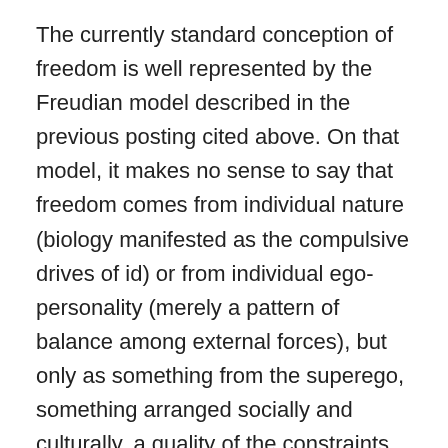The currently standard conception of freedom is well represented by the Freudian model described in the previous posting cited above. On that model, it makes no sense to say that freedom comes from individual nature (biology manifested as the compulsive drives of id) or from individual ego-personality (merely a pattern of balance among external forces), but only as something from the superego, something arranged socially and culturally, a quality of the constraints and opportunities visited upon individuals by institutions of sovereignty, deity, and economics. Freedom defined in that way is a sort of revokable parental indulgence like borrowing the family car, which isn't an impressive freedom. The considerations of actuality and non-actuality presented above uncover a different freedom, a freedom that is inalienable from individual intelligences. On this re-conceptualized system